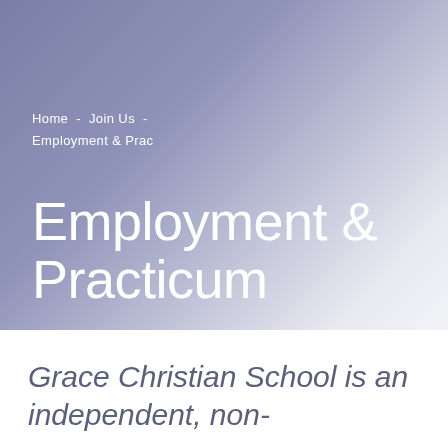Home  -  Join Us  -  Employment & Prac
Employment & Practicum
Grace Christian School is an independent, non-